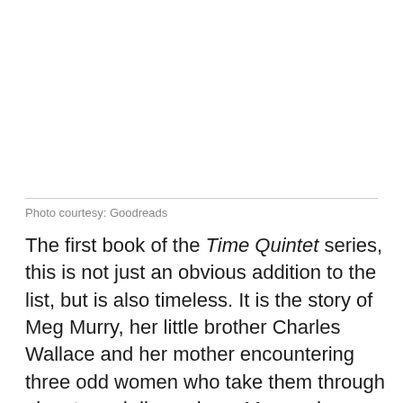Photo courtesy: Goodreads
The first book of the Time Quintet series, this is not just an obvious addition to the list, but is also timeless. It is the story of Meg Murry, her little brother Charles Wallace and her mother encountering three odd women who take them through planets and dimensions. Meg and Charles' father had been experimenting with the fifth dimension of time travel, when